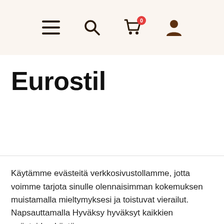Navigation bar with hamburger menu, search, cart (0 items), and user icon
Eurostil
Käytämme evästeitä verkkosivustollamme, jotta voimme tarjota sinulle olennaisimman kokemuksen muistamalla mieltymyksesi ja toistuvat vierailut. Napsauttamalla Hyväksy hyväksyt kaikkien evästeiden käytön.
Evästeasetukset   Hyväksy